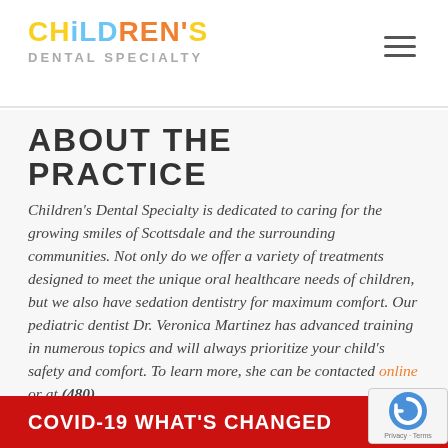Children's Dental Specialty
ABOUT THE PRACTICE
Children's Dental Specialty is dedicated to caring for the growing smiles of Scottsdale and the surrounding communities. Not only do we offer a variety of treatments designed to meet the unique oral healthcare needs of children, but we also have sedation dentistry for maximum comfort. Our pediatric dentist Dr. Veronica Martinez has advanced training in numerous topics and will always prioritize your child's safety and comfort. To learn more, she can be contacted online or at (480)
COVID-19 WHAT'S CHANGED